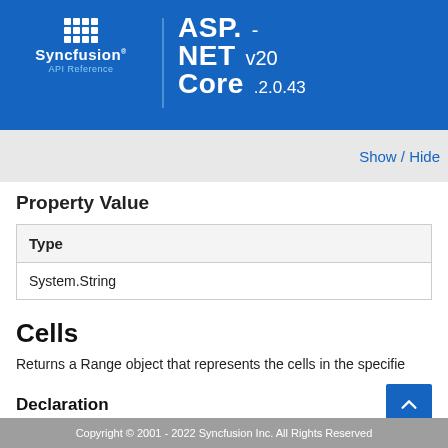Syncfusion API Reference — ASP.NET Core v20.2.0.43
Show / Hide
Property Value
| Type |
| --- |
| System.String |
Cells
Returns a Range object that represents the cells in the specifie
Declaration
public IRange[] Cells { get; }
Copyright © 2001 - 2022 Syncfusion Inc. All Rights Reserved